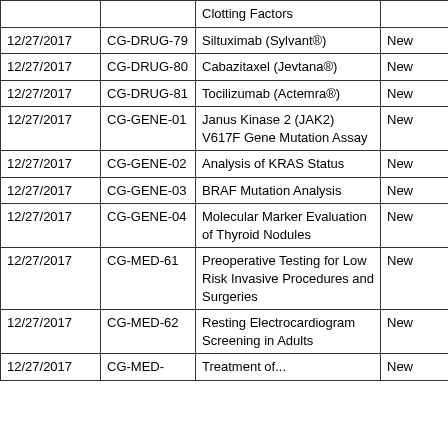| Date | Code | Description | Status |
| --- | --- | --- | --- |
|  |  | Clotting Factors |  |
| 12/27/2017 | CG-DRUG-79 | Siltuximab (Sylvant®) | New |
| 12/27/2017 | CG-DRUG-80 | Cabazitaxel (Jevtana®) | New |
| 12/27/2017 | CG-DRUG-81 | Tocilizumab (Actemra®) | New |
| 12/27/2017 | CG-GENE-01 | Janus Kinase 2 (JAK2) V617F Gene Mutation Assay | New |
| 12/27/2017 | CG-GENE-02 | Analysis of KRAS Status | New |
| 12/27/2017 | CG-GENE-03 | BRAF Mutation Analysis | New |
| 12/27/2017 | CG-GENE-04 | Molecular Marker Evaluation of Thyroid Nodules | New |
| 12/27/2017 | CG-MED-61 | Preoperative Testing for Low Risk Invasive Procedures and Surgeries | New |
| 12/27/2017 | CG-MED-62 | Resting Electrocardiogram Screening in Adults | New |
| 12/27/2017 | CG-MED- | Treatment of... | New |